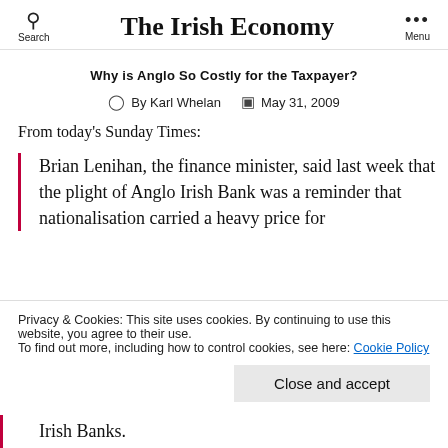The Irish Economy
Why is Anglo So Costly for the Taxpayer?
By Karl Whelan  May 31, 2009
From today's Sunday Times:
Brian Lenihan, the finance minister, said last week that the plight of Anglo Irish Bank was a reminder that nationalisation carried a heavy price for Irish Banks.
Privacy & Cookies: This site uses cookies. By continuing to use this website, you agree to their use.
To find out more, including how to control cookies, see here: Cookie Policy